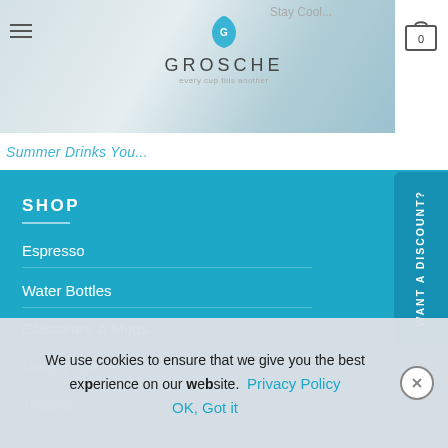[Figure (screenshot): GROSCHE website header with logo, hamburger menu, cart icon, and a partial banner image showing 'Stay Cool' and 'Summer Drinks You...' text]
SHOP
Espresso
Water Bottles
Glassware & Mugs
Mate & Tea
Teapots
WANT A DISCOUNT?
We use cookies to ensure that we give you the best experience on our website. Privacy Policy  OK, Got it